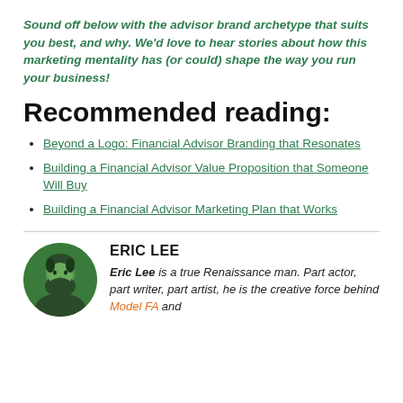Sound off below with the advisor brand archetype that suits you best, and why. We'd love to hear stories about how this marketing mentality has (or could) shape the way you run your business!
Recommended reading:
Beyond a Logo: Financial Advisor Branding that Resonates
Building a Financial Advisor Value Proposition that Someone Will Buy
Building a Financial Advisor Marketing Plan that Works
ERIC LEE
Eric Lee is a true Renaissance man. Part actor, part writer, part artist, he is the creative force behind Model FA and